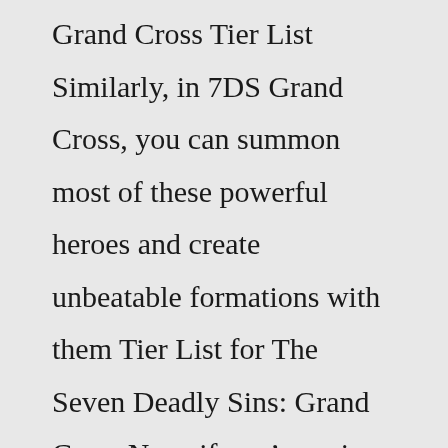Grand Cross Tier List Similarly, in 7DS Grand Cross, you can summon most of these powerful heroes and create unbeatable formations with them Tier List for The Seven Deadly Sins: Grand Cross Now, if you're going to be rerolling in 7DS, you might as well aim to summon the best characters in the game Beginner Guide To Seven Deadly Sins Grand Cross Selling Android and iOS High End 7DS Whale